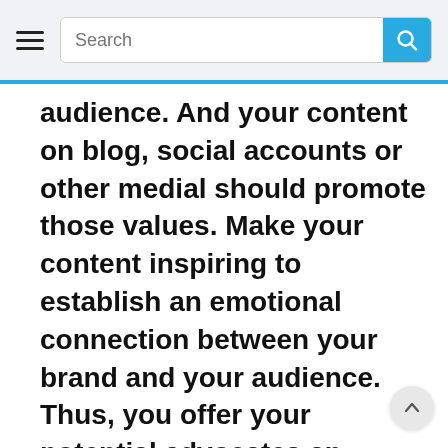Search
audience. And your content on blog, social accounts or other medial should promote those values. Make your content inspiring to establish an emotional connection between your brand and your audience. Thus, you offer your potential advocates an opportunity of talking about you, leaving reviews on your products or services, and testimonials that positively influence your brand's reputation and awareness.